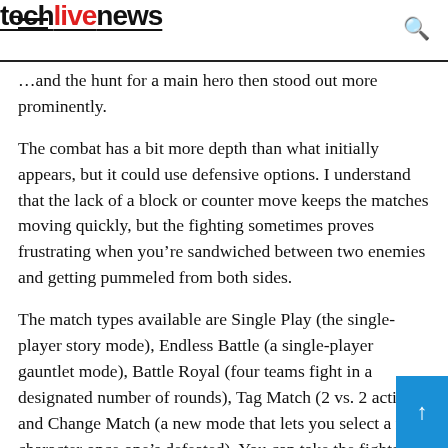techlivenews
…and the hunt for a main hero then stood out more prominently.
The combat has a bit more depth than what initially appears, but it could use defensive options. I understand that the lack of a block or counter move keeps the matches moving quickly, but the fighting sometimes proves frustrating when you're sandwiched between two enemies and getting pummeled from both sides.
The match types available are Single Play (the single-player story mode), Endless Battle (a single-player gauntlet mode), Battle Royal (four teams fight in a designated number of rounds), Tag Match (2 vs. 2 action), and Change Match (a new mode that lets you select a new character once one's defeated). You can take the fights online in the Battle R… or Tag Match modes, but no others. Outside of Single R… and Endless Match, all modes support up to four players…